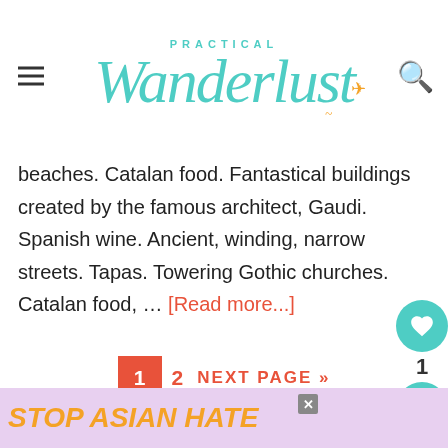Practical Wanderlust
beaches. Catalan food. Fantastical buildings created by the famous architect, Gaudi. Spanish wine. Ancient, winding, narrow streets. Tapas. Towering Gothic churches. Catalan food, … [Read more...]
1  2  NEXT PAGE »
[Figure (other): About Us section with teal background and white cursive text]
[Figure (other): Social media icons row: Instagram, Pinterest, Facebook, YouTube, Twitter, Podcast, TikTok]
[Figure (other): What's Next callout with thumbnail: 32 Best Breweries,...]
[Figure (other): Stop Asian Hate advertisement banner with floral background]